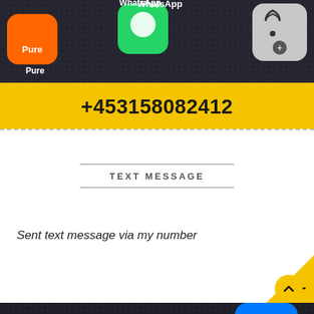[Figure (screenshot): Blurred smartphone home screen showing app icons including WhatsApp, Pure, and others at the top]
+453158082412
TEXT MESSAGE
Sent text message via my number
[Figure (screenshot): Close-up blurred smartphone home screen showing app icons: Photos (Fotos), WhatsApp, Threema, and other apps on dark background]